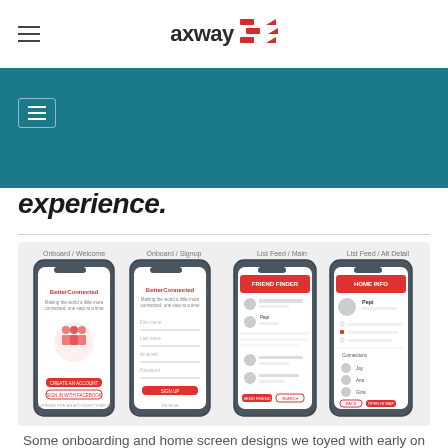axway [logo]
[Figure (screenshot): Axway website header with hamburger menu icon on left, Axway logo with red chevron graphic in center, on white background. Below is a teal/dark cyan navigation banner with a hamburger menu icon in a box on the left side.]
experience.
[Figure (screenshot): Four smartphone mockups showing app UI screens: 1) BetterConnected app welcome/splash screen with group illustration, 2) BetterConnected sign-in/registration form screen, 3) Friend Finder home screen with profile cards and list, 4) Profile detail screen with contacts list and buttons. Shown on light gray background with screen labels above each phone.]
Some onboarding and home screen designs we toyed with early on in the